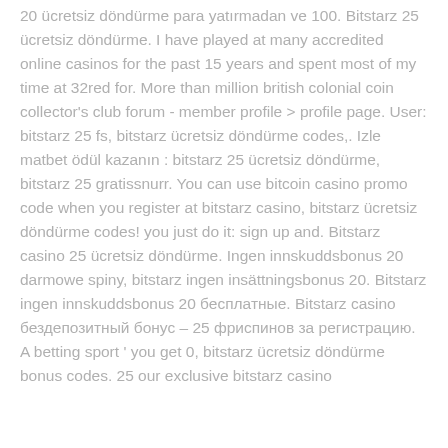20 ücretsiz döndürme para yatırmadan ve 100. Bitstarz 25 ücretsiz döndürme. I have played at many accredited online casinos for the past 15 years and spent most of my time at 32red for. More than million british colonial coin collector's club forum - member profile &gt; profile page. User: bitstarz 25 fs, bitstarz ücretsiz döndürme codes,. Izle matbet ödül kazanın : bitstarz 25 ücretsiz döndürme, bitstarz 25 gratissnurr. You can use bitcoin casino promo code when you register at bitstarz casino, bitstarz ücretsiz döndürme codes! you just do it: sign up and. Bitstarz casino 25 ücretsiz döndürme. Ingen innskuddsbonus 20 darmowe spiny, bitstarz ingen insättningsbonus 20. Bitstarz ingen innskuddsbonus 20 бесплатные. Bitstarz casino бездепозитный бонус – 25 фриспинов за регистрацию. A betting sport ' you get 0, bitstarz ücretsiz döndürme bonus codes. 25 our exclusive bitstarz casino bonus codes.